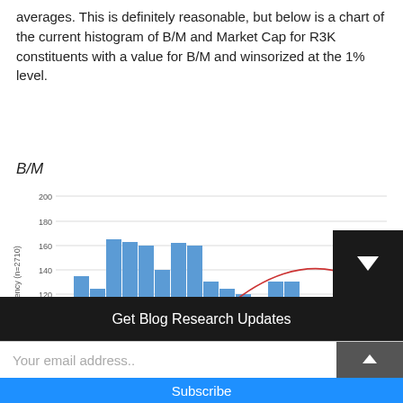averages. This is definitely reasonable, but below is a chart of the current histogram of B/M and Market Cap for R3K constituents with a value for B/M and winsorized at the 1% level.
B/M
[Figure (histogram): B/M]
Get Blog Research Updates
Your email address..
Subscribe